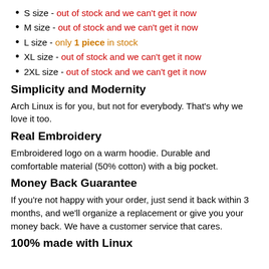S size - out of stock and we can't get it now
M size - out of stock and we can't get it now
L size - only 1 piece in stock
XL size - out of stock and we can't get it now
2XL size - out of stock and we can't get it now
Simplicity and Modernity
Arch Linux is for you, but not for everybody. That's why we love it too.
Real Embroidery
Embroidered logo on a warm hoodie. Durable and comfortable material (50% cotton) with a big pocket.
Money Back Guarantee
If you're not happy with your order, just send it back within 3 months, and we'll organize a replacement or give you your money back. We have a customer service that cares.
100% made with Linux